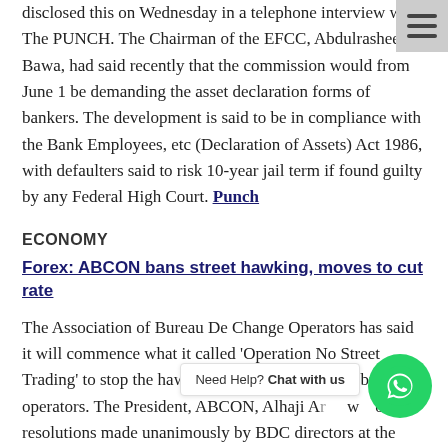disclosed this on Wednesday in a telephone interview with The PUNCH. The Chairman of the EFCC, Abdulrasheed Bawa, had said recently that the commission would from June 1 be demanding the asset declaration forms of bankers. The development is said to be in compliance with the Bank Employees, etc (Declaration of Assets) Act 1986, with defaulters said to risk 10-year jail term if found guilty by any Federal High Court. Punch
ECONOMY
Forex: ABCON bans street hawking, moves to cut rate
The Association of Bureau De Change Operators has said it will commence what it called 'Operation No Street Trading' to stop the hawking of foreign exchange by BDC operators. The President, ABCON, Alhaji Ar... w... of the resolutions made unanimously by BDC directors at the meeting of the operators on Tuesday in Lagos. A copy of the